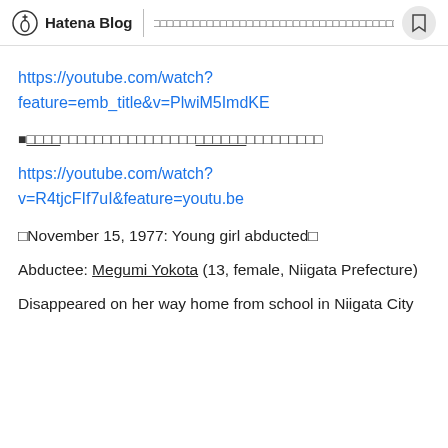Hatena Blog | □□□□□□□□□□□□□□□□□□□□□□□□□□□□□□□□□□□□□□□□□□□□□□
https://youtube.com/watch?feature=emb_title&v=PlwiM5ImdKE
■□□□□□□□□□□□□□□□□□□□□□□□□□□□□□
https://youtube.com/watch?v=R4tjcFIf7uI&feature=youtu.be
□November 15, 1977: Young girl abducted□
Abductee: Megumi Yokota (13, female, Niigata Prefecture)
Disappeared on her way home from school in Niigata City